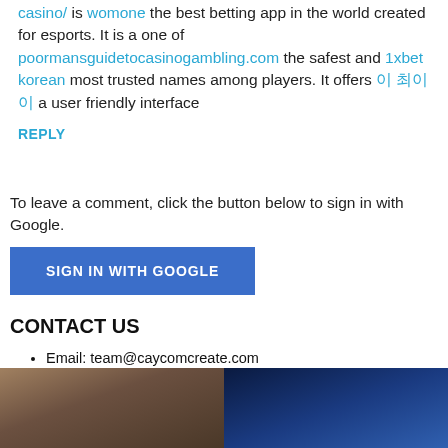casino/ is womone the best betting app in the world created for esports. It is a one of poormansguidetocasinogambling.com the safest and 1xbet korean most trusted names among players. It offers 이 최이 이 a user friendly interface
REPLY
To leave a comment, click the button below to sign in with Google.
SIGN IN WITH GOOGLE
CONTACT US
Email: team@caycomcreate.com
Call: 708-761-0036
FB & IG: @caycomcreate
[Figure (photo): Two women photo on the left, performer with blue lighting on the right]